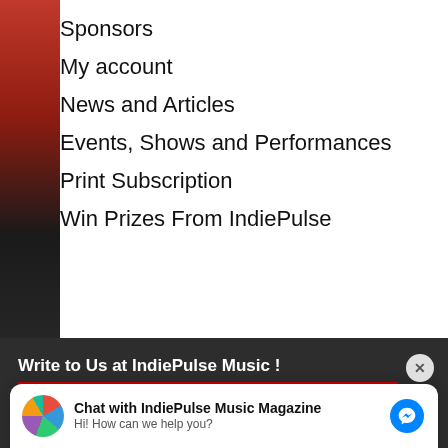Sponsors
My account
News and Articles
Events, Shows and Performances
Print Subscription
Win Prizes From IndiePulse
Write to Us at IndiePulse Music !
Indie Pulse Music Magazine
P.O.Box 6382
Santa Maria, CA 93456-6382
Open 24- 7, For the Love of Music Baby !
News/Media Service Partner
Chat with IndiePulse Music Magazine
Hi! How can we help you?